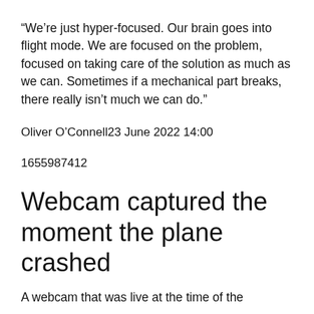“We’re just hyper-focused. Our brain goes into flight mode. We are focused on the problem, focused on taking care of the solution as much as we can. Sometimes if a mechanical part breaks, there really isn’t much we can do.”
Oliver O’Connell23 June 2022 14:00
1655987412
Webcam captured the moment the plane crashed
A webcam that was live at the time of the